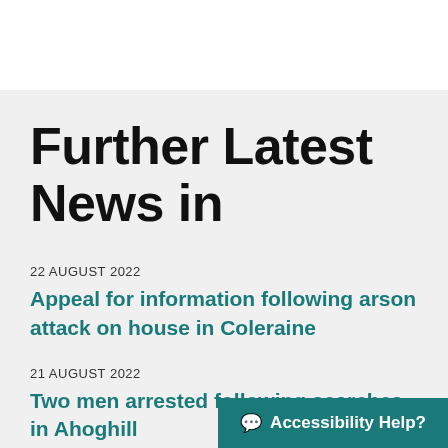Further Latest News in
22 AUGUST 2022
Appeal for information following arson attack on house in Coleraine
21 AUGUST 2022
Two men arrested following searches in Ahoghill
Accessibility Help?